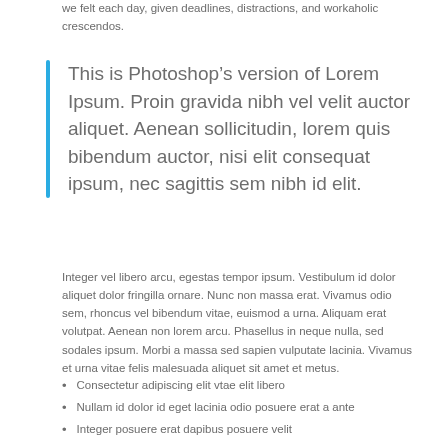we felt each day, given deadlines, distractions, and workaholic crescendos.
This is Photoshop’s version of Lorem Ipsum. Proin gravida nibh vel velit auctor aliquet. Aenean sollicitudin, lorem quis bibendum auctor, nisi elit consequat ipsum, nec sagittis sem nibh id elit.
Integer vel libero arcu, egestas tempor ipsum. Vestibulum id dolor aliquet dolor fringilla ornare. Nunc non massa erat. Vivamus odio sem, rhoncus vel bibendum vitae, euismod a urna. Aliquam erat volutpat. Aenean non lorem arcu. Phasellus in neque nulla, sed sodales ipsum. Morbi a massa sed sapien vulputate lacinia. Vivamus et urna vitae felis malesuada aliquet sit amet et metus.
Consectetur adipiscing elit vtae elit libero
Nullam id dolor id eget lacinia odio posuere erat a ante
Integer posuere erat dapibus posuere velit